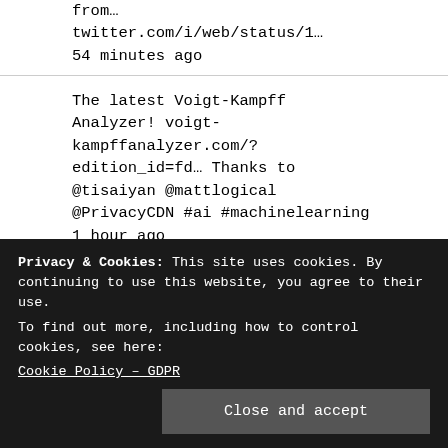from… twitter.com/i/web/status/1…
54 minutes ago
The latest Voigt-Kampff Analyzer! voigt-kampffanalyzer.com/?edition_id=fd… Thanks to @tisaiyan @mattlogical @PrivacyCDN #ai #machinelearning 1 hour ago
Beijing's infiltration on US politics extremarationews.com/en/post/beijin…
2 hours ago
Cyber Reconnaissance – Powered by
Privacy & Cookies: This site uses cookies. By continuing to use this website, you agree to their use.
To find out more, including how to control cookies, see here:
Cookie Policy – GDPR
Close and accept
Pro-Russian ex-president – Igor Dodon –